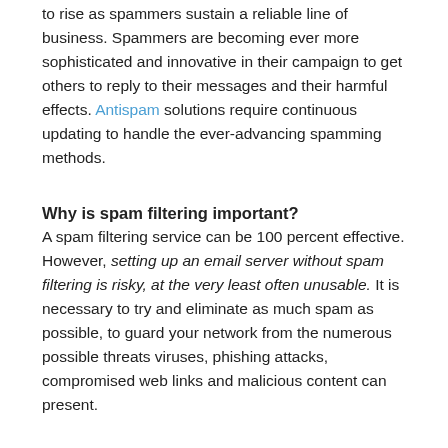to rise as spammers sustain a reliable line of business. Spammers are becoming ever more sophisticated and innovative in their campaign to get others to reply to their messages and their harmful effects. Antispam solutions require continuous updating to handle the ever-advancing spamming methods.
Why is spam filtering important?
A spam filtering service can be 100 percent effective. However, setting up an email server without spam filtering is risky, at the very least often unusable. It is necessary to try and eliminate as much spam as possible, to guard your network from the numerous possible threats viruses, phishing attacks, compromised web links and malicious content can present.